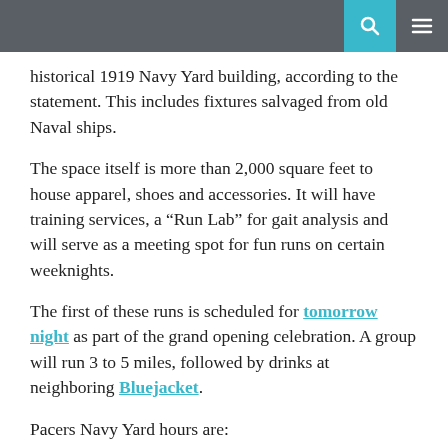[navigation bar with search and menu icons]
historical 1919 Navy Yard building, according to the statement. This includes fixtures salvaged from old Naval ships.
The space itself is more than 2,000 square feet to house apparel, shoes and accessories. It will have training services, a “Run Lab” for gait analysis and will serve as a meeting spot for fun runs on certain weeknights.
The first of these runs is scheduled for tomorrow night as part of the grand opening celebration. A group will run 3 to 5 miles, followed by drinks at neighboring Bluejacket.
Pacers Navy Yard hours are:
10 a.m. to 8 p.m. Monday through Friday.
10 a.m. to 6 p.m. on Saturday.